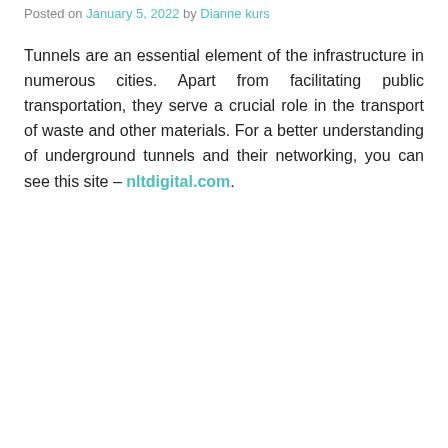Posted on January 5, 2022 by Dianne kurs
Tunnels are an essential element of the infrastructure in numerous cities. Apart from facilitating public transportation, they serve a crucial role in the transport of waste and other materials. For a better understanding of underground tunnels and their networking, you can see this site – nltdigital.com.